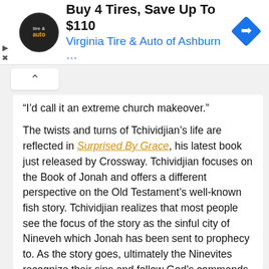[Figure (other): Advertisement banner: Virginia Tire & Auto logo circle on left, headline 'Buy 4 Tires, Save Up To $110', subline 'Virginia Tire & Auto of Ashburn …', blue diamond arrow icon on right. Small play and close controls on far left.]
“I’d call it an extreme church makeover.”
The twists and turns of Tchividjian’s life are reflected in Surprised By Grace, his latest book just released by Crossway. Tchividjian focuses on the Book of Jonah and offers a different perspective on the Old Testament’s well-known fish story. Tchividjian realizes that most people see the focus of the story as the sinful city of Nineveh which Jonah has been sent to prophecy to. As the story goes, ultimately the Ninevites recognize their sins and follow God’s commands. Tchividjian contends the story is more about Jonah.